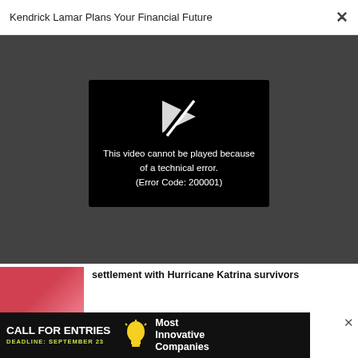Kendrick Lamar Plans Your Financial Future
[Figure (screenshot): Video player error box on dark grey background showing a broken play icon and error message: 'This video cannot be played because of a technical error. (Error Code: 200001)']
settlement with Hurricane Katrina survivors
TECHNOLOGY
Bitcoin falls to fresh lows as crypto crashes on 'Black Monday': Here
[Figure (infographic): Advertisement banner: CALL FOR ENTRIES, DEADLINE: SEPTEMBER 23, Most Innovative Companies]